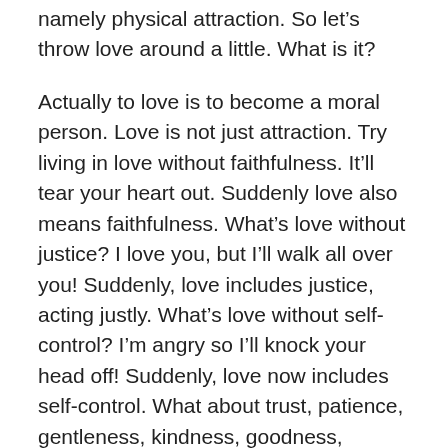namely physical attraction. So let's throw love around a little. What is it?
Actually to love is to become a moral person. Love is not just attraction. Try living in love without faithfulness. It'll tear your heart out. Suddenly love also means faithfulness. What's love without justice? I love you, but I'll walk all over you! Suddenly, love includes justice, acting justly. What's love without self-control? I'm angry so I'll knock your head off! Suddenly, love now includes self-control. What about trust, patience, gentleness, kindness, goodness, truthfulness (honesty and personal integrity), forgiveness? Love is made of many different parts – virtues. Relationships don't just fail, they fail because people don't grow in virtue. To love is to become a moral person. A child, tomorrow's adult learns the art of love in